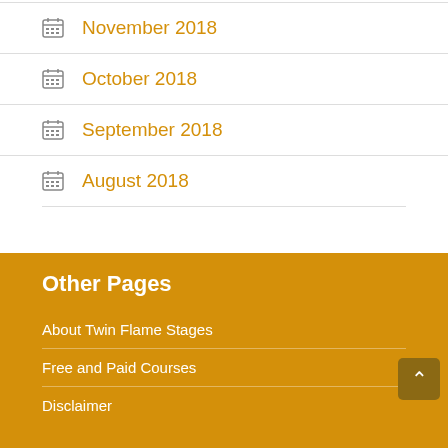November 2018
October 2018
September 2018
August 2018
Other Pages
About Twin Flame Stages
Free and Paid Courses
Disclaimer